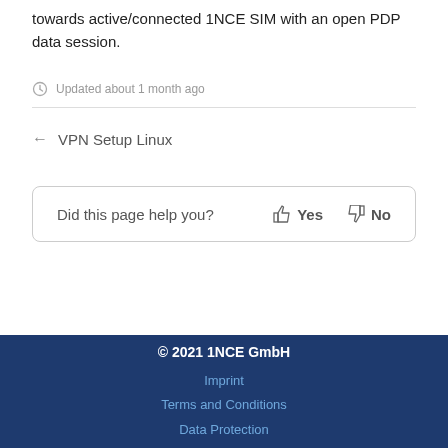towards active/connected 1NCE SIM with an open PDP data session.
Updated about 1 month ago
← VPN Setup Linux
Did this page help you? Yes No
© 2021 1NCE GmbH
Imprint
Terms and Conditions
Data Protection